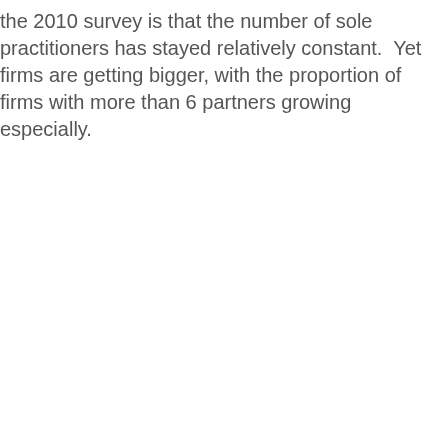the 2010 survey is that the number of sole practitioners has stayed relatively constant.  Yet firms are getting bigger, with the proportion of firms with more than 6 partners growing especially.